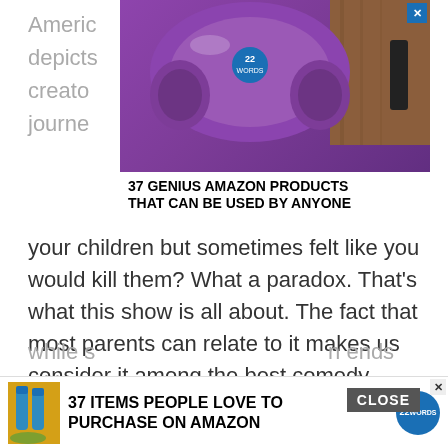Americ... w that depicts... ne creato... arental journe... ve of your children but sometimes felt like you would kill them? What a paradox. That's what this show is all about. The fact that most parents can relate to it makes us consider it among the best comedy shows to stream on Hulu in 2021.
[Figure (advertisement): Ad overlay showing purple headphones on wooden surface with text '37 GENIUS AMAZON PRODUCTS THAT CAN BE USED BY ANYONE' and 22 Words badge, with X close button]
Currently, this parental comedy series is on the second season with 20 episodes. Each episode has 30 minutes running time. The first season introduces us to Paul as a caring father but later discovers that he is not the man he always wanted to be. Ally is Paul's partner, running a recording studio. She can also read their child... tory while s... n ends with a... a face
[Figure (advertisement): Bottom banner ad: '37 ITEMS PEOPLE LOVE TO PURCHASE ON AMAZON' with 22 Words badge and product image, CLOSE button overlay]